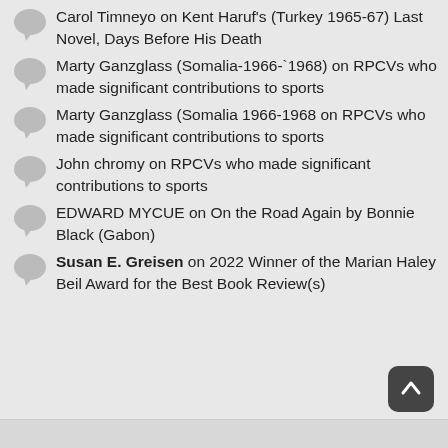Carol Timneyo on Kent Haruf's (Turkey 1965-67) Last Novel, Days Before His Death
Marty Ganzglass (Somalia-1966-`1968) on RPCVs who made significant contributions to sports
Marty Ganzglass (Somalia 1966-1968 on RPCVs who made significant contributions to sports
John chromy on RPCVs who made significant contributions to sports
EDWARD MYCUE on On the Road Again by Bonnie Black (Gabon)
Susan E. Greisen on 2022 Winner of the Marian Haley Beil Award for the Best Book Review(s)